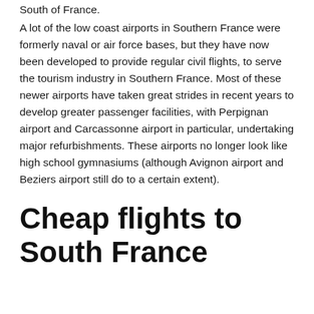South of France.
A lot of the low coast airports in Southern France were formerly naval or air force bases, but they have now been developed to provide regular civil flights, to serve the tourism industry in Southern France. Most of these newer airports have taken great strides in recent years to develop greater passenger facilities, with Perpignan airport and Carcassonne airport in particular, undertaking major refurbishments. These airports no longer look like high school gymnasiums (although Avignon airport and Beziers airport still do to a certain extent).
Cheap flights to South France